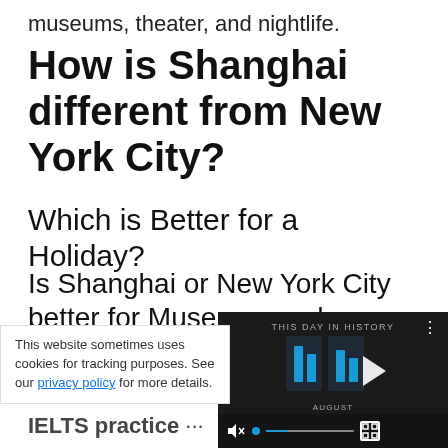museums, theater, and nightlife.
How is Shanghai different from New York City?
Which is Better for a Holiday?
Is Shanghai or New York City better for Museums and Historical Sights?
Plenty of people visit the sights and museums in both … City.
[Figure (screenshot): Embedded video player overlay with dark background showing 'THIS DAY IN HISTORY' label, blue play/pause icon, AUGUST text, muted icon, seek bar, and fullscreen button]
This website sometimes uses cookies for tracking purposes. See our privacy policy for more details.